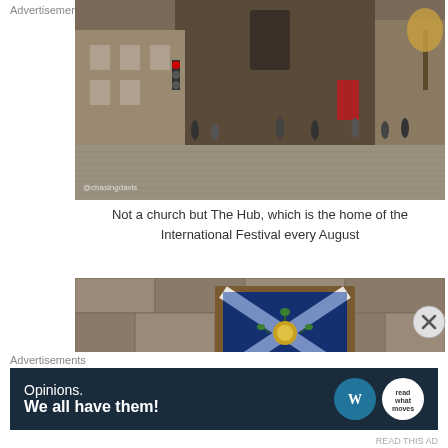[Figure (photo): Street-level photo of The Hub building in Edinburgh, a large gothic stone church-like structure with a tall spire and red door, surrounded by cobblestone streets with pedestrians walking by. A traffic light is visible on the left. Watermark '@chasingdavis' in lower left corner.]
Not a church but The Hub, which is the home of the International Festival every August
[Figure (photo): Close-up photo of a decorative stone plaque or panel embedded in a stone wall, showing a colorful heraldic or symbolic emblem featuring a blue and white Scottish saltire cross with golden thistles on a dark background, framed in wood.]
Advertisements
[Figure (other): Advertisement banner with dark navy background. Text reads 'Opinions. We all have them!' with WordPress logo (blue circle with white W) and another circular logo on the right.]